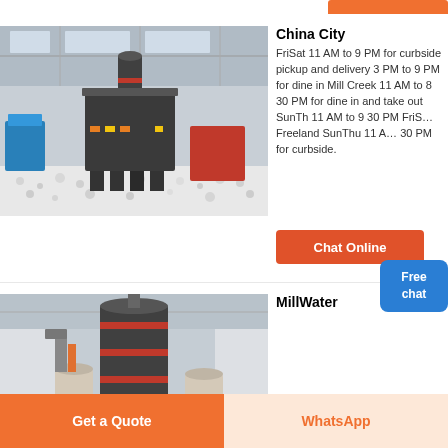[Figure (photo): Industrial machinery in a factory — a large vertical crusher/mill machine surrounded by white aggregate/gravel material, with red and yellow equipment in the background]
China City
FriSat 11 AM to 9 PM for curbside pickup and delivery 3 PM to 9 PM for dine in Mill Creek 11 AM to 8 30 PM for dine in and take out SunTh 11 AM to 9 30 PM FriSat Freeland SunThu 11 AM 30 PM for curbside.
[Figure (screenshot): Free chat button overlay — blue rounded rectangle with white text 'Free chat']
[Figure (photo): Industrial vertical mill/grinding machine inside a warehouse with large cylindrical grinder and red accent rings, with smaller processing equipment nearby]
MillWater
Chat Online
Get a Quote
WhatsApp